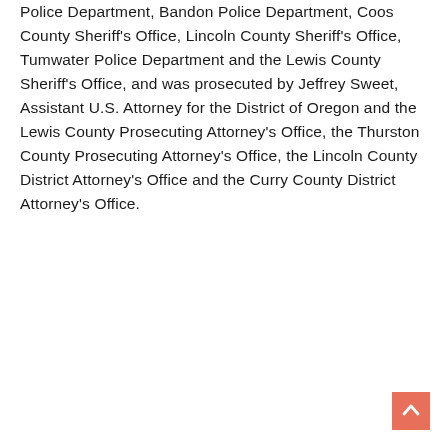Police Department, Bandon Police Department, Coos County Sheriff's Office, Lincoln County Sheriff's Office, Tumwater Police Department and the Lewis County Sheriff's Office, and was prosecuted by Jeffrey Sweet, Assistant U.S. Attorney for the District of Oregon and the Lewis County Prosecuting Attorney's Office, the Thurston County Prosecuting Attorney's Office, the Lincoln County District Attorney's Office and the Curry County District Attorney's Office.